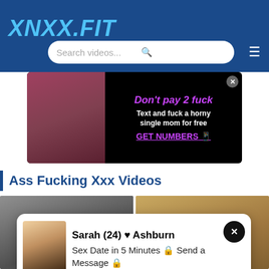XNXX.FIT
[Figure (screenshot): Advertisement banner: woman with red hair and glasses on left, text 'Don't pay 2 fuck Text and fuck a horny single mom for free GET NUMBERS' on black background]
Ass Fucking Xxx Videos
[Figure (screenshot): Two video thumbnails side by side showing adult video content]
[Figure (screenshot): Popup overlay showing woman named Sarah (24) from Ashburn with message: Sex Date in 5 Minutes Send a Message]
ass fucking students teacher
ass fucking nasty russian